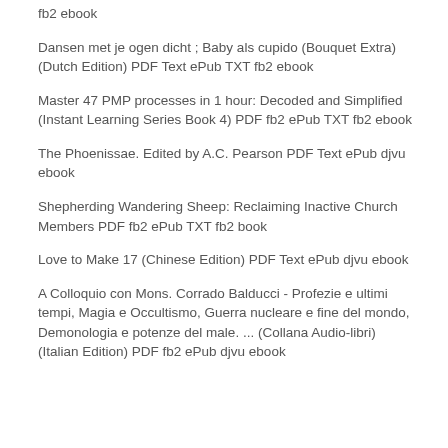fb2 ebook
Dansen met je ogen dicht ; Baby als cupido (Bouquet Extra) (Dutch Edition) PDF Text ePub TXT fb2 ebook
Master 47 PMP processes in 1 hour: Decoded and Simplified (Instant Learning Series Book 4) PDF fb2 ePub TXT fb2 ebook
The Phoenissae. Edited by A.C. Pearson PDF Text ePub djvu ebook
Shepherding Wandering Sheep: Reclaiming Inactive Church Members PDF fb2 ePub TXT fb2 book
Love to Make 17 (Chinese Edition) PDF Text ePub djvu ebook
A Colloquio con Mons. Corrado Balducci - Profezie e ultimi tempi, Magia e Occultismo, Guerra nucleare e fine del mondo, Demonologia e potenze del male. ... (Collana Audio-libri) (Italian Edition) PDF fb2 ePub djvu ebook